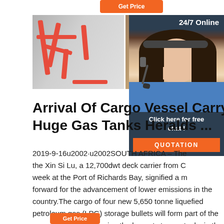[Figure (other): Orange 'Get Price' button at top]
[Figure (photo): Strip of four industrial/gas equipment photos showing red pipes, valves, and storage equipment]
[Figure (other): 24/7 Online chat widget with woman wearing headset, 'Click here for free chat!' and QUOTATION button]
Arrival Of Cargo Vessel Carry Huge Gas Tanks Heralds ...
2019-9-16u2002·u2002SOUTH AFRICA – The Xin Si Lu, a 12,700dwt deck carrier from C week at the Port of Richards Bay, signified a m forward for the advancement of lower emissions in the country.The cargo of four new 5,650 tonne liquefied petroleum gas (LPG) storage bullets will form part of the new gas terminal housing the largest storage tanks in the world.
[Figure (other): Orange button at bottom (partially visible)]